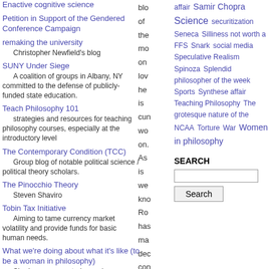Enactive cognitive science
Petition in Support of the Gendered Conference Campaign
remaking the university
Christopher Newfield's blog
SUNY Under Siege
A coalition of groups in Albany, NY committed to the defense of publicly-funded state education.
Teach Philosophy 101
strategies and resources for teaching philosophy courses, especially at the introductory level
The Contemporary Condition (TCC)
Group blog of notable political science / political theory scholars.
The Pinocchio Theory
Steven Shaviro
Tobin Tax Initiative
Aiming to tame currency market volatility and provide funds for basic human needs.
What we're doing about what it's like (to be a woman in philosophy)
Sharing success stories and
blo of the mo on love he is cur wo on. As is we kno Ro has ma dec con to the phi
affair  Samir Chopra  Science  securitization  Seneca  Silliness not worth a FFS  Snark  social media  Speculative Realism  Spinoza  Splendid philosopher of the week  Sports  Synthese affair  Teaching Philosophy  The grotesque nature of the NCAA  Torture  War  Women in philosophy
SEARCH